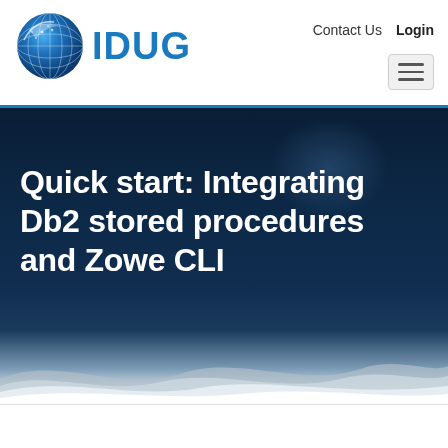IDUG — Contact Us   Login
Quick start: Integrating Db2 stored procedures and Zowe CLI
BY RICHELLE ANNE CRAW POSTED APR 13, 2020 10:40